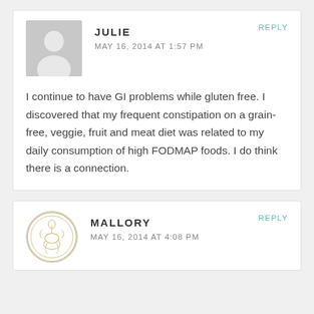JULIE
MAY 16, 2014 AT 1:57 PM
REPLY
I continue to have GI problems while gluten free. I discovered that my frequent constipation on a grain-free, veggie, fruit and meat diet was related to my daily consumption of high FODMAP foods. I do think there is a connection.
MALLORY
MAY 16, 2014 AT 4:08 PM
REPLY